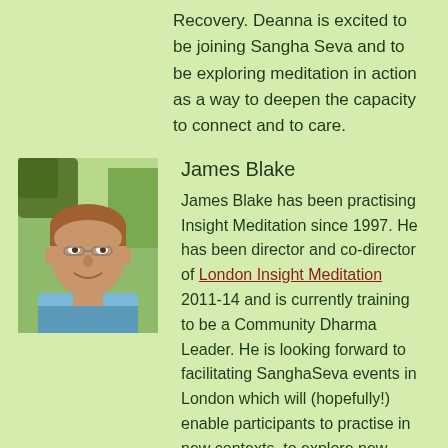Recovery. Deanna is excited to be joining Sangha Seva and to be exploring meditation in action as a way to deepen the capacity to connect and to care.
[Figure (photo): Headshot of James Blake, a man in a light blue shirt smiling, photographed outdoors with greenery in background.]
James Blake
James Blake has been practising Insight Meditation since 1997. He has been director and co-director of London Insight Meditation 2011-14 and is currently training to be a Community Dharma Leader. He is looking forward to facilitating SanghaSeva events in London which will (hopefully!) enable participants to practise in new contexts, to explore new ways of engaging with the city, and to work for the benefit of all.